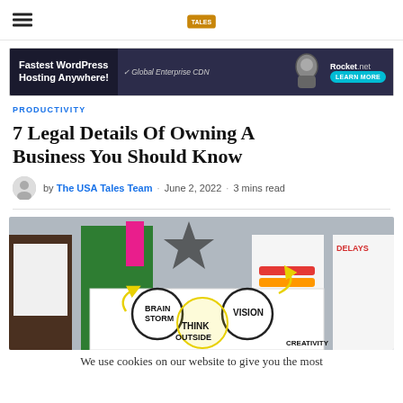Navigation bar with hamburger menu and site logo
[Figure (screenshot): Advertisement banner for Rocket.net WordPress hosting with text 'Fastest WordPress Hosting Anywhere!' and 'Global Enterprise CDN', 'Learn More' button]
PRODUCTIVITY
7 Legal Details Of Owning A Business You Should Know
by The USA Tales Team · June 2, 2022 · 3 mins read
[Figure (photo): Group of people holding a whiteboard sign with circles labeled 'BRAIN STORM', 'VISION', 'THINK OUTSIDE', 'CREATIVITY' with yellow arrows]
We use cookies on our website to give you the most